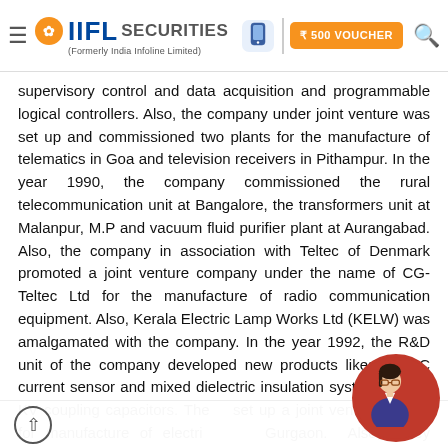IIFL Securities (Formerly India Infoline Limited) — ₹500 VOUCHER
supervisory control and data acquisition and programmable logical controllers. Also, the company under joint venture was set up and commissioned two plants for the manufacture of telematics in Goa and television receivers in Pithampur. In the year 1990, the company commissioned the rural telecommunication unit at Bangalore, the transformers unit at Malanpur, M.P and vacuum fluid purifier plant at Aurangabad. Also, the company in association with Teltec of Denmark promoted a joint venture company under the name of CG-Teltec Ltd for the manufacture of radio communication equipment. Also, Kerala Electric Lamp Works Ltd (KELW) was amalgamated with the company. In the year 1992, the R&D unit of the company developed new products likes DC/AC current sensor and mixed dielectric insulation system for 220 KV coupling capacitors. They set up a joint venture project for manufacture of electricals at Gurgaon. Also, they commissioned a plant for manufacture of lithium batteries in Goa. In the year 1994 t...